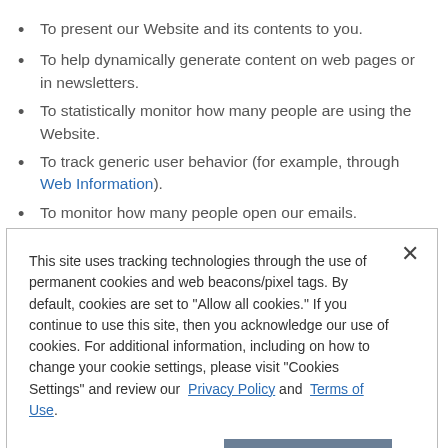To present our Website and its contents to you.
To help dynamically generate content on web pages or in newsletters.
To statistically monitor how many people are using the Website.
To track generic user behavior (for example, through Web Information).
To monitor how many people open our emails.
To help us evaluate the purpose for which our users
This site uses tracking technologies through the use of permanent cookies and web beacons/pixel tags. By default, cookies are set to "Allow all cookies." If you continue to use this site, then you acknowledge our use of cookies. For additional information, including on how to change your cookie settings, please visit "Cookies Settings" and review our Privacy Policy and Terms of Use.